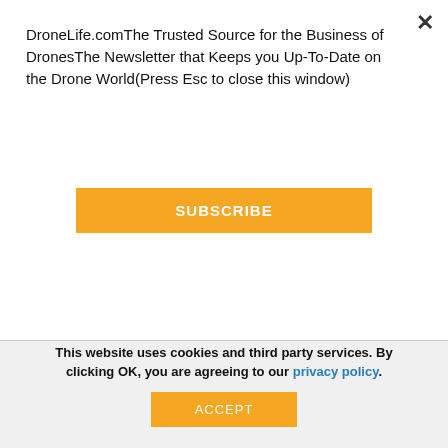DroneLife.comThe Trusted Source for the Business of DronesThe Newsletter that Keeps you Up-To-Date on the Drone World(Press Esc to close this window)
SUBSCRIBE
[Figure (photo): Blue Marble Geographics advertisement showing a laptop keyboard with a globe logo and text 'BLUE MARBLE GEOGRAPHICS']
[Figure (photo): A hand holding a carbon fiber drone frame on sandy ground]
This website uses cookies and third party services. By clicking OK, you are agreeing to our privacy policy.
ACCEPT